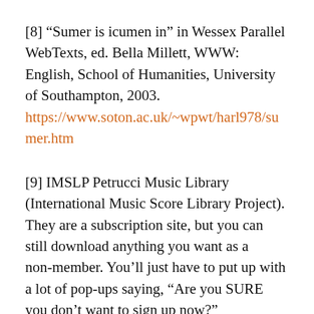[8] “Sumer is icumen in” in Wessex Parallel WebTexts, ed. Bella Millett, WWW: English, School of Humanities, University of Southampton, 2003. https://www.soton.ac.uk/~wpwt/harl978/sumer.htm
[9] IMSLP Petrucci Music Library (International Music Score Library Project). They are a subscription site, but you can still download anything you want as a non-member. You’ll just have to put up with a lot of pop-ups saying, “Are you SURE you don’t want to sign up now?”